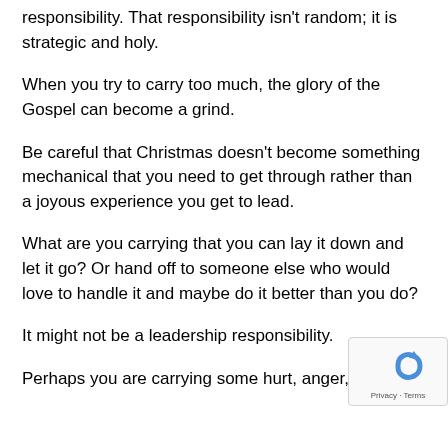responsibility. That responsibility isn't random; it is strategic and holy.
When you try to carry too much, the glory of the Gospel can become a grind.
Be careful that Christmas doesn't become something mechanical that you need to get through rather than a joyous experience you get to lead.
What are you carrying that you can lay it down and let it go? Or hand off to someone else who would love to handle it and maybe do it better than you do?
It might not be a leadership responsibility.
Perhaps you are carrying some hurt, anger, or